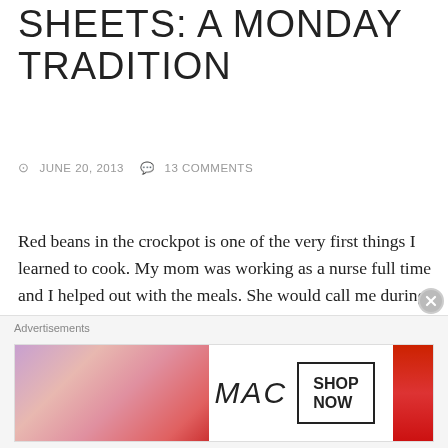SHEETS: A MONDAY TRADITION
⊙ JUNE 20, 2013  ✉ 13 COMMENTS
Red beans in the crockpot is one of the very first things I learned to cook. My mom was working as a nurse full time and I helped out with the meals. She would call me during the summer and talk me through the process so I could get them on in the morning. In college, I didn't have a crockpot so I would make red beans own the stove. It just wasn't the same but I did it. I have always loved red beans and rice but it wasn't until I was married (I got my big ole red beans crockpot! As I call it) and pregnant with my first child that I developed a deep appreciation (some would call it obsession) with crockpot red
Advertisements
[Figure (photo): MAC Cosmetics advertisement banner showing lipsticks in purple, pink, and red shades with MAC logo and SHOP NOW button]